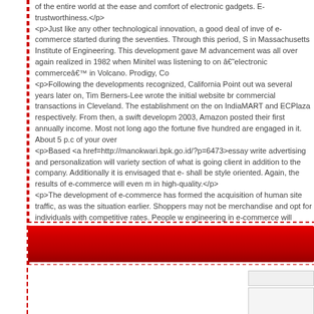of the entire world at the ease and comfort of electronic gadgets. E-trustworthiness.</p>
<p>Just like any other technological innovation, a good deal of inve of e-commerce started during the seventies. Through this period, S in Massachusetts Institute of Engineering. This development gave M advancement was all over again realized in 1982 when Minitel was listening to on â€˜electronic commerceâ€™ in Volcano. Prodigy, Co <p>Following the developments recognized, California Point out wa several years later on, Tim Berners-Lee wrote the initial website br commercial transactions in Cleveland. The establishment on the on IndiaMART and ECPlaza respectively. From then, a swift developm 2003, Amazon posted their first annually income. Most not long ago the fortune five hundred are engaged in it. About 5 p.c of your over <p>Based <a href=http://manokwari.bpk.go.id/?p=6473>essay write advertising and personalization will variety section of what is going client in addition to the company. Additionally it is envisaged that e- shall be style oriented. Again, the results of e-commerce will even m in high-quality.</p>
<p>The development of e-commerce has formed the acquisition of human site traffic, as was the situation earlier. Shoppers may not be merchandise and opt for individuals with competitive rates. People w engineering in e-commerce will acquire even further and relieve sal
[Figure (other): Red gradient horizontal banner/divider bar with dashed red border above and below]
[Figure (screenshot): Bottom section with white background, a small input field and a larger box (UI elements) visible at bottom right]